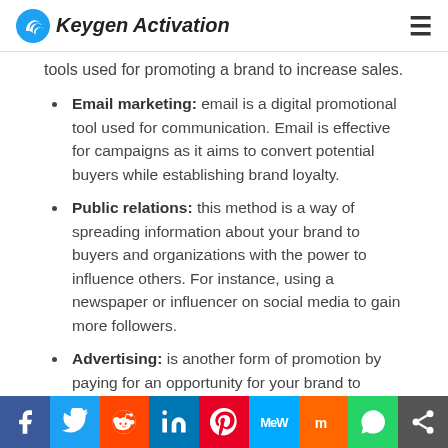Keygen Activation
tools used for promoting a brand to increase sales.
Email marketing: email is a digital promotional tool used for communication. Email is effective for campaigns as it aims to convert potential buyers while establishing brand loyalty.
Public relations: this method is a way of spreading information about your brand to buyers and organizations with the power to influence others. For instance, using a newspaper or influencer on social media to gain more followers.
Advertising: is another form of promotion by paying for an opportunity for your brand to appear in a media outlet. Digital ads are in
Social share bar: Facebook, Twitter, Reddit, LinkedIn, Pinterest, MeWe, Mix, WhatsApp, Share